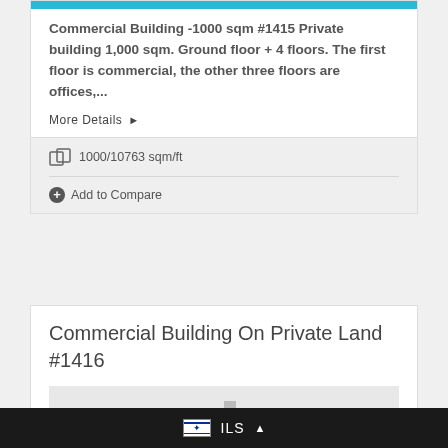Commercial Building -1000 sqm #1415 Private building 1,000 sqm. Ground floor + 4 floors. The first floor is commercial, the other three floors are offices,...
More Details ▶
1000/10763 sqm/ft
Add to Compare
Commercial Building On Private Land #1416
[Figure (photo): Gray placeholder image area for property listing #1416]
ILS